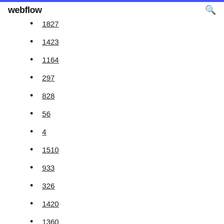webflow
1827
1423
1164
297
828
56
4
1510
933
326
1420
1360
877